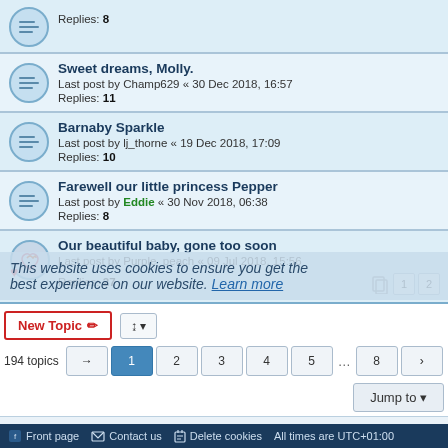Replies: 8
Sweet dreams, Molly.
Last post by Champ629 « 30 Dec 2018, 16:57
Replies: 11
Barnaby Sparkle
Last post by lj_thorne « 19 Dec 2018, 17:09
Replies: 10
Farewell our little princess Pepper
Last post by Eddie « 30 Nov 2018, 06:38
Replies: 8
Our beautiful baby, gone too soon
Last post by Purple_peach « 09 Jul 2018, 15:56
Replies: 27
New Topic  |  Sort  |  194 topics  1 2 3 4 5 ... 8 >
Jump to
This website uses cookies to ensure you get the best experience on our website. Learn more
FORUM PERMISSIONS
You cannot post new topics in this forum
You cannot reply to topics in this forum
You cannot edit your posts in this forum
You cannot delete your posts in this forum
Front page   Contact us   Delete cookies   All times are UTC+01:00